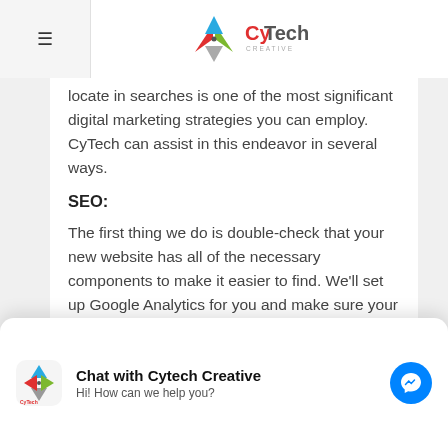[Figure (logo): CyTech Creative logo — diamond/arrow icon in teal, red, green colors with 'CyTech' wordmark in red and gray 'CREATIVE' subtitle]
locate in searches is one of the most significant digital marketing strategies you can employ. CyTech can assist in this endeavor in several ways.
SEO:
The first thing we do is double-check that your new website has all of the necessary components to make it easier to find. We'll set up Google Analytics for you and make sure your content, keywords, and page titles are all
you about using some of our tried-and-true methods for increasing online conversions